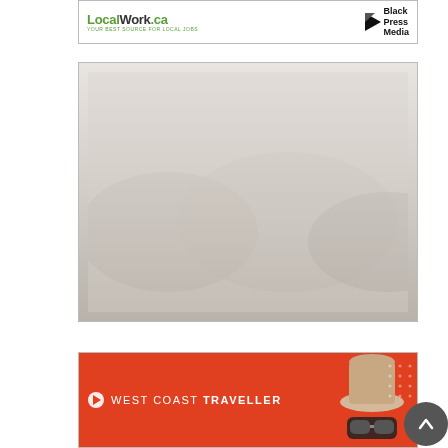[Figure (logo): LocalWork.ca logo with tagline 'Your best source for local jobs' and Black Press Media logo]
[Figure (photo): Large rectangular advertisement image with light grey/beige washed-out landscape background]
[Figure (logo): West Coast Traveller advertisement banner in orange/red with white text and travel accessories imagery]